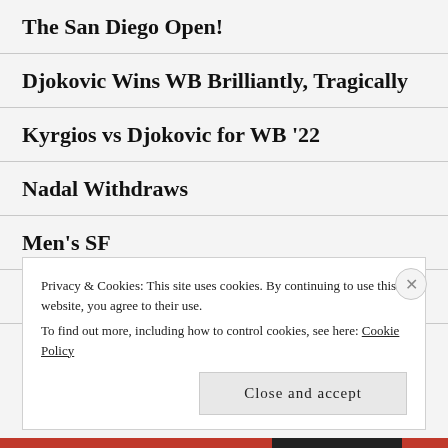The San Diego Open!
Djokovic Wins WB Brilliantly, Tragically
Kyrgios vs Djokovic for WB '22
Nadal Withdraws
Men's SF
Djokodull #60.
Privacy & Cookies: This site uses cookies. By continuing to use this website, you agree to their use.
To find out more, including how to control cookies, see here: Cookie Policy
Close and accept